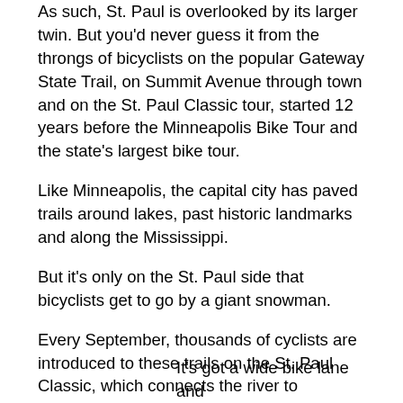As such, St. Paul is overlooked by its larger twin. But you'd never guess it from the throngs of bicyclists on the popular Gateway State Trail, on Summit Avenue through town and on the St. Paul Classic tour, started 12 years before the Minneapolis Bike Tour and the state's largest bike tour.
Like Minneapolis, the capital city has paved trails around lakes, past historic landmarks and along the Mississippi.
But it's only on the St. Paul side that bicyclists get to go by a giant snowman.
Every September, thousands of cyclists are introduced to these trails on the St. Paul Classic, which connects the river to parkways around lakes Phalen and Como and, on the short route, to the Victorian mansions of Summit Avenue.
Summit is the St. Paul equivalent of Minneapolis' Midtown Greenway, cutting west-east from the Mississippi to the Capitol and downtown.
It's got a wide bike lane and